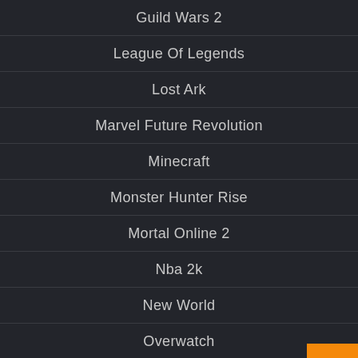Guild Wars 2
League Of Legends
Lost Ark
Marvel Future Revolution
Minecraft
Monster Hunter Rise
Mortal Online 2
Nba 2k
New World
Overwatch
Pokémon